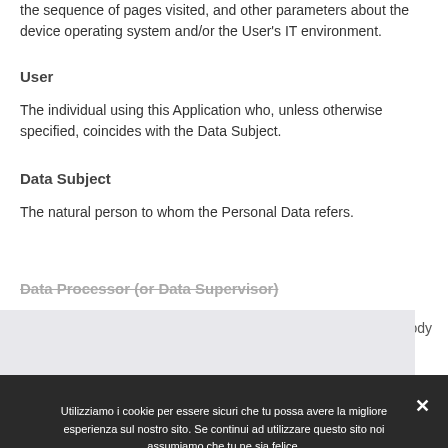the sequence of pages visited, and other parameters about the device operating system and/or the User's IT environment.
User
The individual using this Application who, unless otherwise specified, coincides with the Data Subject.
Data Subject
The natural person to whom the Personal Data refers.
Data Processor (or Data Supervisor)
This website uses cookies to ensure you get   her body
Utilizziamo i cookie per essere sicuri che tu possa avere la migliore esperienza sul nostro sito. Se continui ad utilizzare questo sito noi assumiamo che tu ne sia felice.
Ok